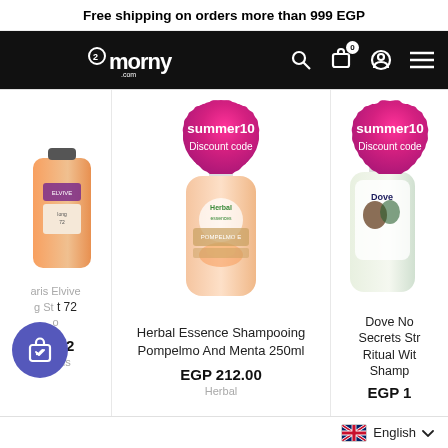Free shipping on orders more than 999 EGP
[Figure (logo): o2morny.com logo on black navigation bar with search, cart, user, and menu icons]
[Figure (photo): Partial view of L'Oreal Paris Elvive product bottle with cart button overlay, price EGP 94.12]
[Figure (photo): Herbal Essence Shampooing Pompelmo And Menta 250ml bottle with summer10 discount badge, price EGP 212.00]
[Figure (photo): Dove No Secrets Strengthening Ritual With Shampoo bottle with summer10 discount badge, partial view]
paris Elvive g Str t 72 o
EGP 94.12
l Paris
Herbal Essence Shampooing Pompelmo And Menta 250ml
EGP 212.00
Herbal
Dove No Secrets Str Ritual Wit Shamp
EGP 1
English